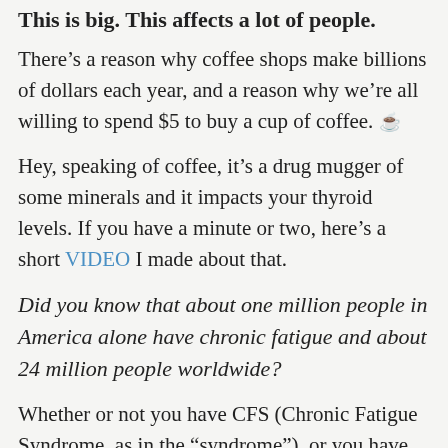This is big. This affects a lot of people.
There’s a reason why coffee shops make billions of dollars each year, and a reason why we’re all willing to spend $5 to buy a cup of coffee. ☕
Hey, speaking of coffee, it’s a drug mugger of some minerals and it impacts your thyroid levels. If you have a minute or two, here’s a short VIDEO I made about that.
Did you know that about one million people in America alone have chronic fatigue and about 24 million people worldwide?
Whether or not you have CFS (Chronic Fatigue Syndrome, as in the “syndrome”), or you have just plain chronic fatigue and exhaustion, this is a chronic, debilitating and nagging condition that impacts your memory, sex life, pain markers, mood and sleep! A triple shot latte only works for so long, then you’re down again. Most people use coffee because they have low